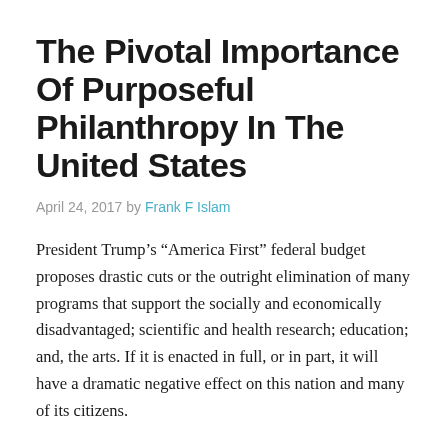The Pivotal Importance Of Purposeful Philanthropy In The United States
April 24, 2017 by Frank F Islam
President Trump’s “America First” federal budget proposes drastic cuts or the outright elimination of many programs that support the socially and economically disadvantaged; scientific and health research; education; and, the arts. If it is enacted in full, or in part, it will have a dramatic negative effect on this nation and many of its citizens.
That will make philanthropy even more critical than it is today here in the United States for promoting